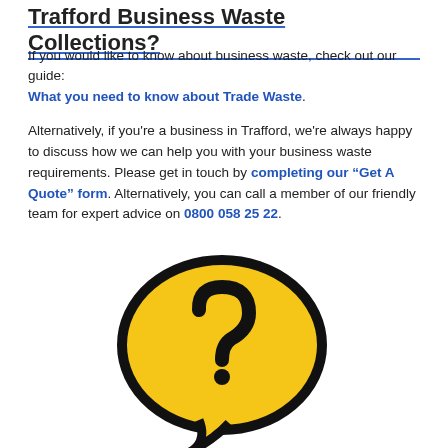Trafford Business Waste Collections?
If you would like to know about business waste, check out our guide: What you need to know about Trade Waste.
Alternatively, if you're a business in Trafford, we're always happy to discuss how we can help you with your business waste requirements. Please get in touch by completing our "Get A Quote" form. Alternatively, you can call a member of our friendly team for expert advice on 0800 058 25 22.
[Figure (illustration): Yellow speech bubble icon with a black question mark inside on a white background]